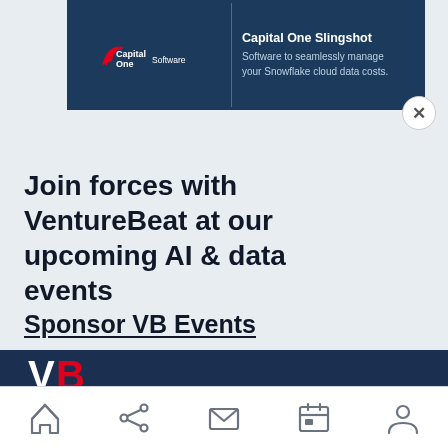[Figure (screenshot): Capital One Software advertisement banner showing logo and text: Capital One Slingshot - Software to seamlessly manage your Snowflake cloud data costs.]
Join forces with VentureBeat at our upcoming AI & data events
Sponsor VB Events
[Figure (logo): VentureBeat VB logo in white and red on dark navy background]
Navigation bar with home, share, mail, calendar, and profile icons